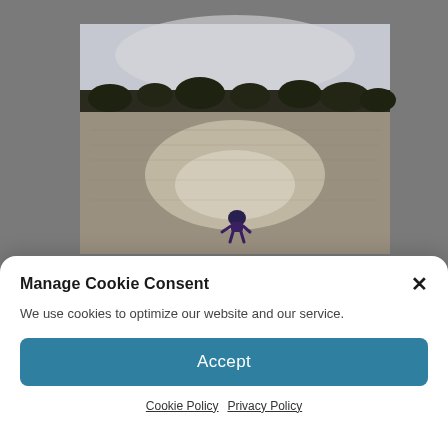[Figure (photo): A beach scene at low tide showing a child playing in shallow reflective water with a treeline in the background under a hazy sky. The photo is positioned in the upper portion of the page against a grey background.]
Manage Cookie Consent
We use cookies to optimize our website and our service.
Accept
Cookie Policy  Privacy Policy